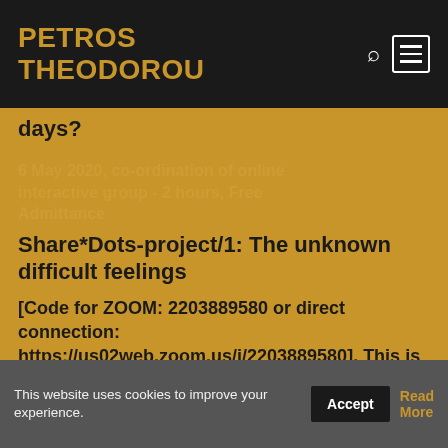PETROS THEODOROU
days?
6 May 2020, co-ordination of online interactive group - 2 hours, Free Admittance
Share*Dots-project/1: The unknown difficult feelings
[Code for ZOOM: 2203889580 or direct connection: https://us02web.zoom.us/j/2203889580]. This is my volunteering contribution to the collective field for
This website uses cookies to improve your experience. Accept Read More